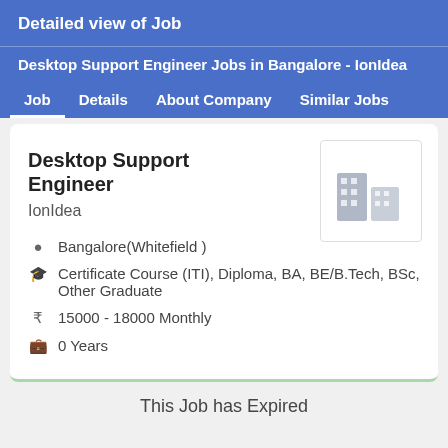Detailed view of Job
Desktop Support Engineer Jobs in Bangalore - IonIdea
Job  Details  About Company  Similar Jobs
Desktop Support Engineer
IonIdea
Bangalore(Whitefield )
Certificate Course (ITI), Diploma, BA, BE/B.Tech, BSc, Other Graduate
15000 - 18000 Monthly
0 Years
This Job has Expired